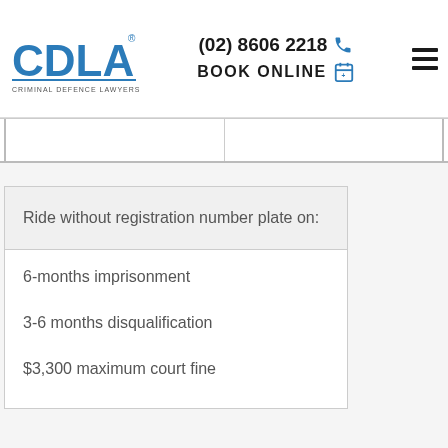(02) 8606 2218 | BOOK ONLINE | CRIMINAL DEFENCE LAWYERS AUSTRALIA
Ride without registration number plate on:
6-months imprisonment
3-6 months disqualification
$3,300 maximum court fine